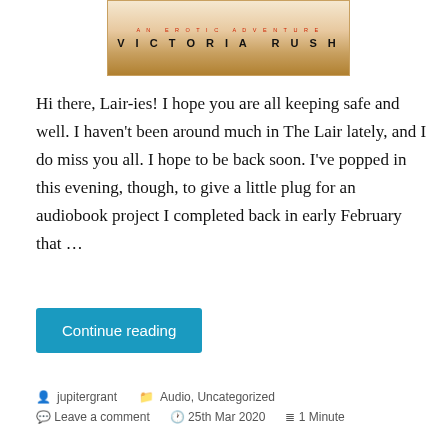[Figure (illustration): Book cover image for an erotic adventure by Victoria Rush, showing text 'AN EROTIC ADVENTURE' in red spaced letters and 'VICTORIA RUSH' in bold spaced black letters on a warm beige/gold background with what appears to be a jewelry chain.]
Hi there, Lair-ies! I hope you are all keeping safe and well. I haven't been around much in The Lair lately, and I do miss you all. I hope to be back soon. I've popped in this evening, though, to give a little plug for an audiobook project I completed back in early February that …
Continue reading
jupitergrant   Audio, Uncategorized   Leave a comment   25th Mar 2020   1 Minute